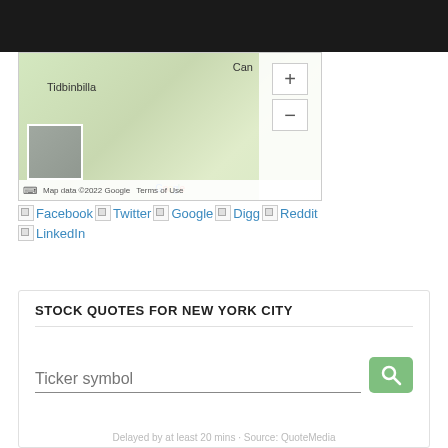[Figure (map): Google Maps screenshot showing Tidbinbilla area with zoom controls, a map thumbnail, Google logo, and footer showing 'Map data ©2022 Google  Terms of Use']
Facebook  Twitter  Google  Digg  Reddit  LinkedIn
STOCK QUOTES FOR NEW YORK CITY
Ticker symbol [search input]
Delayed by at least 20 mins · Source: QuoteMedia